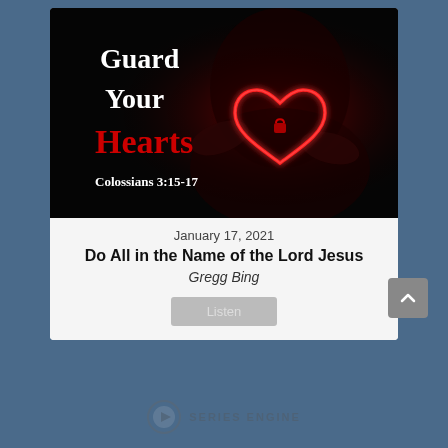[Figure (illustration): Sermon series cover image: dark background with a person holding a glowing red neon heart outline. Text overlaid: 'Guard Your Hearts' in white and red, 'Colossians 3:15-17' in white italic.]
January 17, 2021
Do All in the Name of the Lord Jesus
Gregg Bing
Listen
[Figure (logo): Series Engine logo: circular play button icon with text 'SERIES ENGINE']